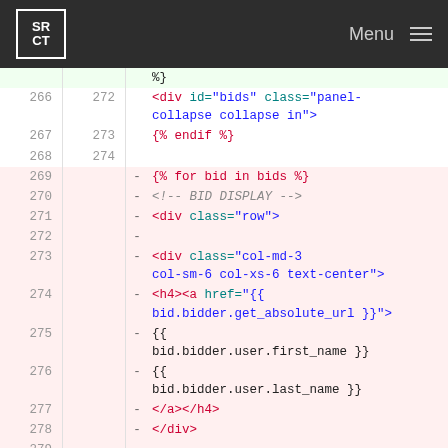SRCT Menu
[Figure (screenshot): Code diff view showing HTML template lines 266-279 with green and red diff highlighting. Lines 266-268 are unchanged (white/green background) showing div id='bids' class='panel-collapse collapse in' and endif tag. Lines 269-279 are removed (red background) showing for loop and bid display HTML structure.]